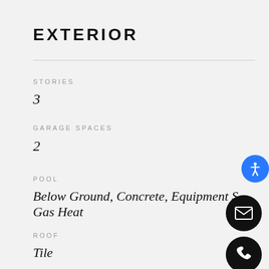EXTERIOR
STORIES
3
GARAGE SPACES
2
POOL
Below Ground, Concrete, Equipment Stay, Gas Heat
ROOF
Tile
LOT FEATURES